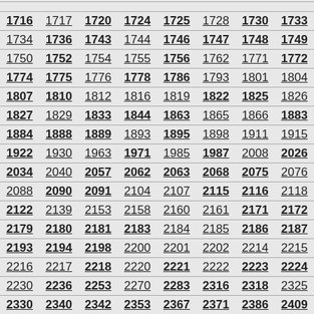| 1716 | 1717 | 1720 | 1724 | 1725 | 1728 | 1730 | 1733 |
| 1734 | 1736 | 1743 | 1744 | 1746 | 1747 | 1748 | 1749 |
| 1750 | 1752 | 1754 | 1755 | 1756 | 1762 | 1771 | 1772 |
| 1774 | 1775 | 1776 | 1778 | 1786 | 1793 | 1801 | 1804 |
| 1807 | 1810 | 1812 | 1816 | 1819 | 1822 | 1825 | 1826 |
| 1827 | 1829 | 1833 | 1844 | 1863 | 1865 | 1866 | 1883 |
| 1884 | 1888 | 1889 | 1893 | 1895 | 1898 | 1911 | 1915 |
| 1922 | 1930 | 1963 | 1971 | 1985 | 1987 | 2008 | 2026 |
| 2034 | 2040 | 2057 | 2062 | 2063 | 2068 | 2075 | 2076 |
| 2088 | 2090 | 2091 | 2104 | 2107 | 2115 | 2116 | 2118 |
| 2122 | 2139 | 2153 | 2158 | 2160 | 2161 | 2171 | 2172 |
| 2179 | 2180 | 2181 | 2183 | 2184 | 2185 | 2186 | 2187 |
| 2193 | 2194 | 2198 | 2200 | 2201 | 2202 | 2214 | 2215 |
| 2216 | 2217 | 2218 | 2220 | 2221 | 2222 | 2223 | 2224 |
| 2230 | 2236 | 2253 | 2270 | 2283 | 2316 | 2318 | 2325 |
| 2330 | 2340 | 2342 | 2353 | 2367 | 2371 | 2386 | 2409 |
| 2410 | 2411 | 2412 | 2415 | 2430 | 2433 | 2442 | 2443 |
| 2457 | 2499 | 2509 | 2532 | 2554 | 2559 | 2570 | 2572 |
| 2581 | 2598 | 2600 | 2601 | 2603 | 2603 | 2607 | 2647 |